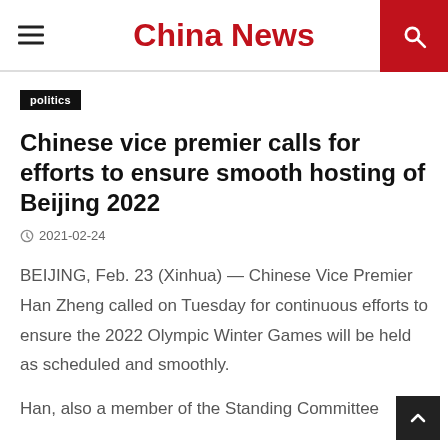China News
politics
Chinese vice premier calls for efforts to ensure smooth hosting of Beijing 2022
2021-02-24
BEIJING, Feb. 23 (Xinhua) — Chinese Vice Premier Han Zheng called on Tuesday for continuous efforts to ensure the 2022 Olympic Winter Games will be held as scheduled and smoothly.
Han, also a member of the Standing Committee